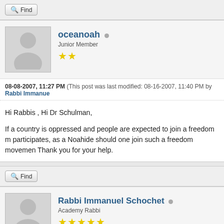[Figure (screenshot): Find button bar at top]
[Figure (screenshot): User avatar silhouette for oceanoah]
oceanoah
Junior Member
★★ (2 stars)
08-08-2007, 11:27 PM (This post was last modified: 08-16-2007, 11:40 PM by Rabbi Immanue
Hi Rabbis , Hi Dr Schulman,

If a country is oppressed and people are expected to join a freedom m participates, as a Noahide should one join such a freedom movemen Thank you for your help.
[Figure (screenshot): Find button bar between posts]
[Figure (screenshot): User avatar silhouette for Rabbi Immanuel Schochet]
Rabbi Immanuel Schochet
Academy Rabbi
★★★★★ (5 stars)